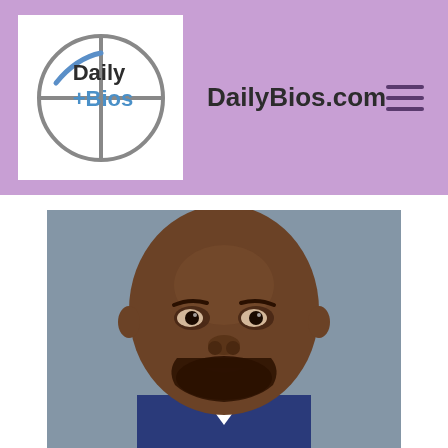DailyBios.com
[Figure (photo): Professional headshot of a bald Black man with a trimmed beard, wearing a dark suit, against a grey background. Photo appears on DailyBios.com website.]